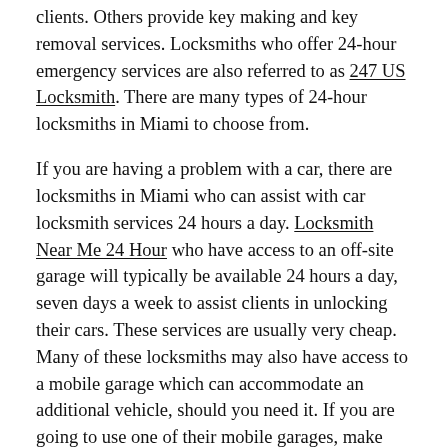clients. Others provide key making and key removal services. Locksmiths who offer 24-hour emergency services are also referred to as 247 US Locksmith. There are many types of 24-hour locksmiths in Miami to choose from.
If you are having a problem with a car, there are locksmiths in Miami who can assist with car locksmith services 24 hours a day. Locksmith Near Me 24 Hour who have access to an off-site garage will typically be available 24 hours a day, seven days a week to assist clients in unlocking their cars. These services are usually very cheap. Many of these locksmiths may also have access to a mobile garage which can accommodate an additional vehicle, should you need it. If you are going to use one of their mobile garages, make sure you get there a block or two early so you can get the quickest and easiest treatment possible.